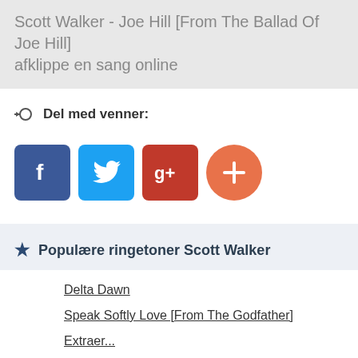Scott Walker - Joe Hill [From The Ballad Of Joe Hill] afklippe en sang online
Del med venner:
[Figure (infographic): Social sharing buttons: Facebook (blue square), Twitter (light blue square), Google+ (dark red square), More/Add (orange circle with plus)]
Populære ringetoner Scott Walker
Delta Dawn
Speak Softly Love [From The Godfather]
Extraer (truncated)